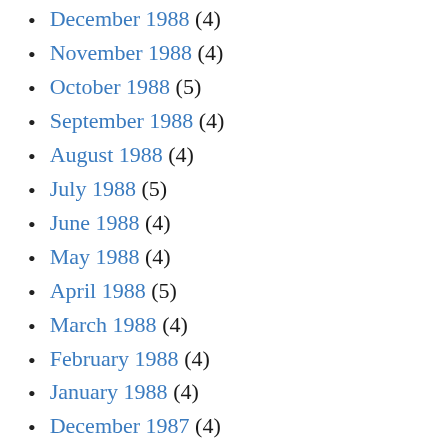December 1988 (4)
November 1988 (4)
October 1988 (5)
September 1988 (4)
August 1988 (4)
July 1988 (5)
June 1988 (4)
May 1988 (4)
April 1988 (5)
March 1988 (4)
February 1988 (4)
January 1988 (4)
December 1987 (4)
November 1987 (4)
October 1987 (5)
September 1987 (4)
August 1987 (5)